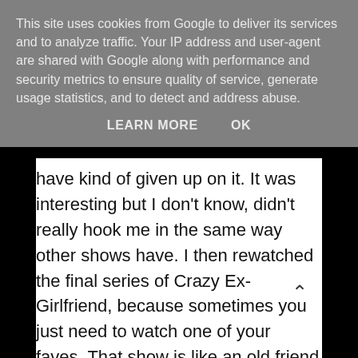This site uses cookies from Google to deliver its services and to analyze traffic. Your IP address and user-agent are shared with Google along with performance and security metrics to ensure quality of service, generate usage statistics, and to detect and address abuse.
LEARN MORE   OK
have kind of given up on it. It was interesting but I don't know, didn't really hook me in the same way other shows have. I then rewatched the final series of Crazy Ex-Girlfriend, because sometimes you just need to watch one of your faves. That show is like an old friend to me know (as sad as it sounds) and watching it is like having a virtual hug. In some ways it gives me hope.
I've also been to the cinema a couple of times this month! I first went to see Judy – the biopic of